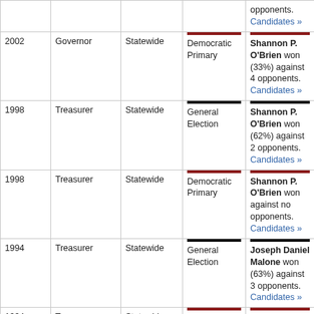| Year | Office | District | Election | Result |
| --- | --- | --- | --- | --- |
|  |  |  |  | opponents. Candidates » |
| 2002 | Governor | Statewide | Democratic Primary | Shannon P. O'Brien won (33%) against 4 opponents. Candidates » |
| 1998 | Treasurer | Statewide | General Election | Shannon P. O'Brien won (62%) against 2 opponents. Candidates » |
| 1998 | Treasurer | Statewide | Democratic Primary | Shannon P. O'Brien won against no opponents. Candidates » |
| 1994 | Treasurer | Statewide | General Election | Joseph Daniel Malone won (63%) against 3 opponents. Candidates » |
| 1994 | Treasurer | Statewide | Democratic Primary | Shannon P. O'Brien won against no opponents. Candidates » |
| 1992 | State Senate | Hampden and Hampshire | General Election | Shannon P. O'Brien won (67%) against 1 opponent. Candidates » |